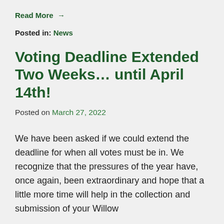Read More →
Posted in: News
Voting Deadline Extended Two Weeks… until April 14th!
Posted on March 27, 2022
We have been asked if we could extend the deadline for when all votes must be in. We recognize that the pressures of the year have, once again, been extraordinary and hope that a little more time will help in the collection and submission of your Willow